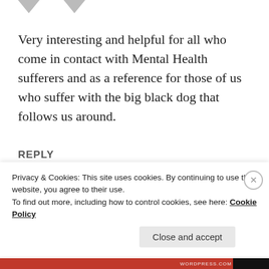[Figure (illustration): Two downward-pointing grey triangle/arrow shapes at top of page]
Very interesting and helpful for all who come in contact with Mental Health sufferers and as a reference for those of us who suffer with the big black dog that follows us around.
REPLY
SGT MOOMAN
May 18, 2012 at 12:08 pm
Privacy & Cookies: This site uses cookies. By continuing to use this website, you agree to their use.
To find out more, including how to control cookies, see here: Cookie Policy
Close and accept